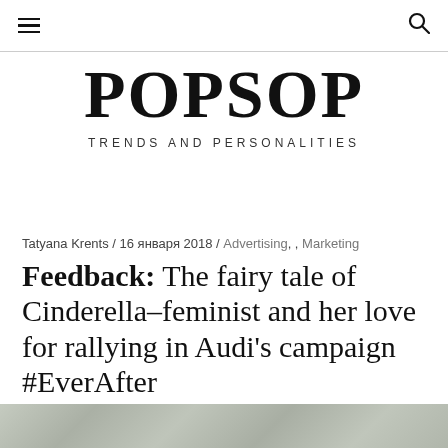≡  🔍
POPSOP
TRENDS AND PERSONALITIES
Tatyana Krents / 16 января 2018 / Advertising, , Marketing
Feedback: The fairy tale of Cinderella–feminist and her love for rallying in Audi's campaign #EverAfter
[Figure (photo): Partially visible photograph at the bottom of the page, appears to be a nature or outdoor scene in muted green/grey tones.]